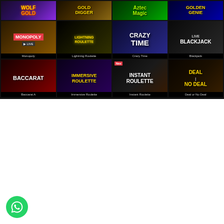[Figure (screenshot): Casino game lobby screenshot showing a 4x3 grid of live casino game tiles on dark background. Row 1 (partial): Wolf Gold, Gold Digger, Aztec Magic, Golden Genie. Row 2: Monopoly, Lightning Roulette, Crazy Time, Blackjack. Row 3: Baccarat A, Immersive Roulette, Instant Roulette (with NEW badge), Deal or No Deal. Each tile shows game artwork and a black label bar at the bottom.]
[Figure (logo): Green circular WhatsApp messenger button in the bottom-left corner of the page.]